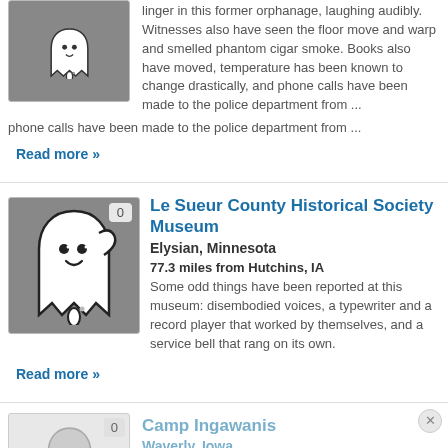[Figure (illustration): Ghost cartoon illustration on dark gray background, partial view at top of page]
linger in this former orphanage, laughing audibly. Witnesses also have seen the floor move and warp and smelled phantom cigar smoke. Books also have moved, temperature has been known to change drastically, and phone calls have been made to the police department from ...
Read more »
[Figure (illustration): Ghost cartoon illustration with raised arm, smiling face, on dark gray background, badge showing 0]
Le Sueur County Historical Society Museum
Elysian, Minnesota
77.3 miles from Hutchins, IA
Some odd things have been reported at this museum: disembodied voices, a typewriter and a record player that worked by themselves, and a service bell that rang on its own.
Read more »
[Figure (illustration): Ghost cartoon illustration in light gray/muted colors, badge showing 0, partial view at bottom]
Camp Ingawanis
Waverly, Iowa